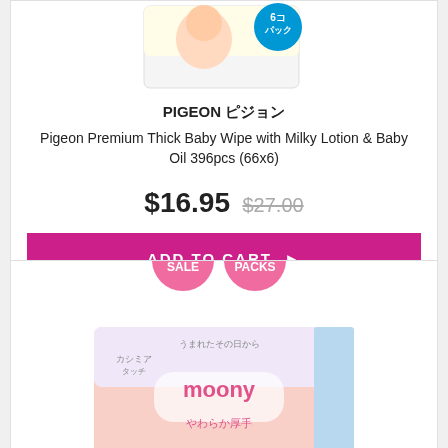[Figure (photo): Pigeon baby wipes product package image, partially visible at top]
PIGEON ピジョン
Pigeon Premium Thick Baby Wipe with Milky Lotion & Baby Oil 396pcs (66x6)
$16.95 $27.00
ADD TO CART ▶
[Figure (photo): ON SALE and 16 PACKS pink circular badges, with Moony baby wipes product box image below]